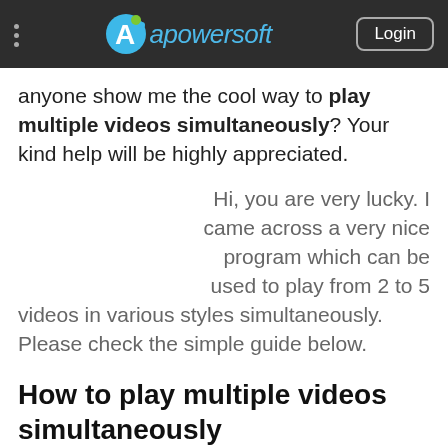Apowersoft — Login
anyone show me the cool way to play multiple videos simultaneously? Your kind help will be highly appreciated.
Hi, you are very lucky. I came across a very nice program which can be used to play from 2 to 5 videos in various styles simultaneously. Please check the simple guide below.
How to play multiple videos simultaneously